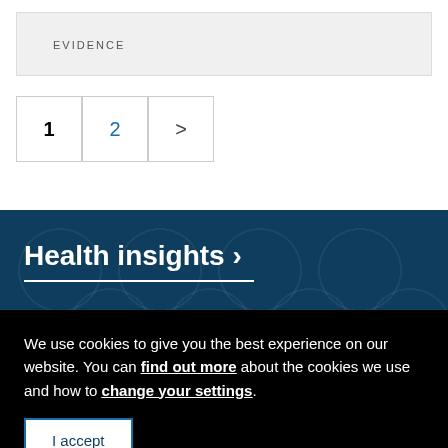EVIDENCE
1  2  >
Health insights >
We use cookies to give you the best experience on our website. You can find out more about the cookies we use and how to change your settings.
I accept